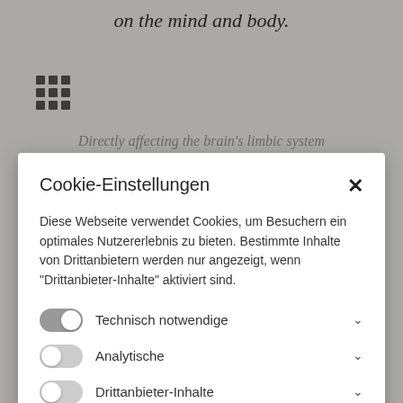on the mind and body.
[Figure (other): 3x3 grid icon (app menu icon)]
Directly affecting the brain's limbic system
Cookie-Einstellungen
Diese Webseite verwendet Cookies, um Besuchern ein optimales Nutzererlebnis zu bieten. Bestimmte Inhalte von Drittanbietern werden nur angezeigt, wenn "Drittanbieter-Inhalte" aktiviert sind.
Technisch notwendige
Analytische
Drittanbieter-Inhalte
ALLE AKZEPTIEREN
SPEICHERN